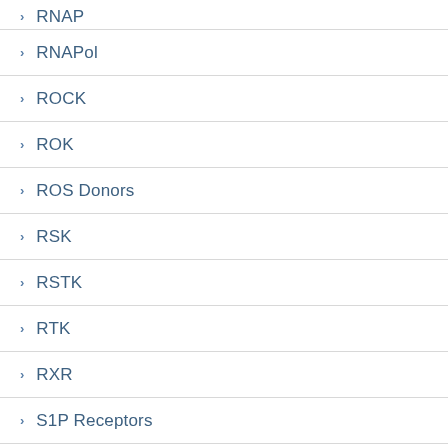RNAP
RNAPol
ROCK
ROK
ROS Donors
RSK
RSTK
RTK
RXR
S1P Receptors
sAHP Channels